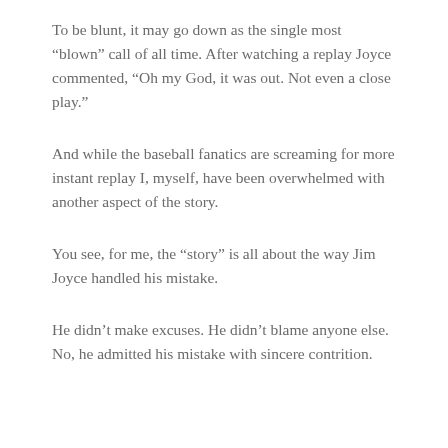To be blunt, it may go down as the single most “blown” call of all time. After watching a replay Joyce commented, “Oh my God, it was out. Not even a close play.”
And while the baseball fanatics are screaming for more instant replay I, myself, have been overwhelmed with another aspect of the story.
You see, for me, the “story” is all about the way Jim Joyce handled his mistake.
He didn’t make excuses. He didn’t blame anyone else. No, he admitted his mistake with sincere contrition.